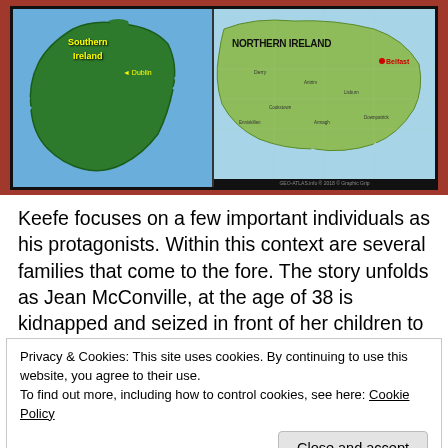[Figure (map): Two maps side by side: left shows Southern Ireland with Dublin labeled in yellow; right shows Northern Ireland with Belfast labeled in red, on a light green geographic map.]
Keefe focuses on a few important individuals as his protagonists.  Within this context are several families that come to the fore.  The story unfolds as Jean McConville, at the age of 38 is kidnapped and seized in front of her children to be murdered by unionist thugs.  Next, is the
Privacy & Cookies: This site uses cookies. By continuing to use this website, you agree to their use.
To find out more, including how to control cookies, see here: Cookie Policy
including into more traditional discipline and serious...